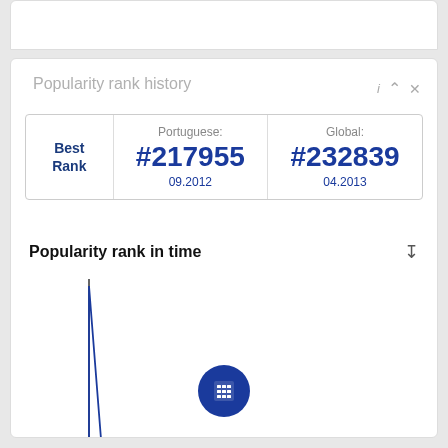Popularity rank history
|  | Portuguese: | Global: |
| --- | --- | --- |
| Best Rank | #217955
09.2012 | #232839
04.2013 |
Popularity rank in time
[Figure (line-chart): Line chart showing popularity rank over time from 01.2018 to 03.2022. A single spike appears near the start (around 01.2018) and then the line is flat/empty for the remainder of the time range.]